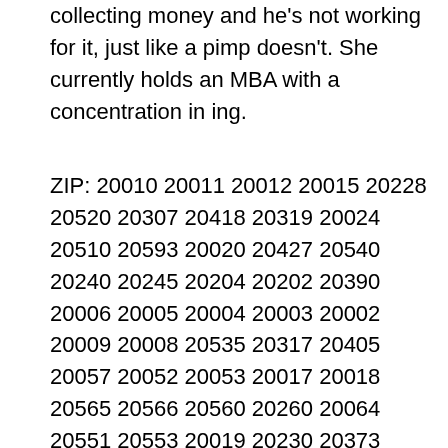collecting money and he's not working for it, just like a pimp doesn't. She currently holds an MBA with a concentration in ing.
ZIP: 20010 20011 20012 20015 20228 20520 20307 20418 20319 20024 20510 20593 20020 20427 20540 20240 20245 20204 20202 20390 20006 20005 20004 20003 20002 20009 20008 20535 20317 20405 20057 20052 20053 20017 20018 20565 20566 20560 20260 20064 20551 20553 20019 20230 20373 20007 20032 20036 20037 20506 20001 20045 20016 20013 20022 20026 20027 20029 20030 20033 20035 20038 20039 20040 20041 20042 20043 20044 20047 20049 20050 20055 20056 20058 20059 20060 20061 20062 20063 20065 20066 20067 20068 20069 20070 20071 20073 20074 20075 20076 20077 20078 20080 20081 20082 20090 20091 20201 20203 20207 20208 20210 20211 20212 20213 20214 20215 20216 20217 20218 20219 20220 20221 20222 20223 20224 20226 20227 20229 20232 20233 20235 20237 20238 20239 20241 20242 20244 20250 20251 20252 20254 20261 20262